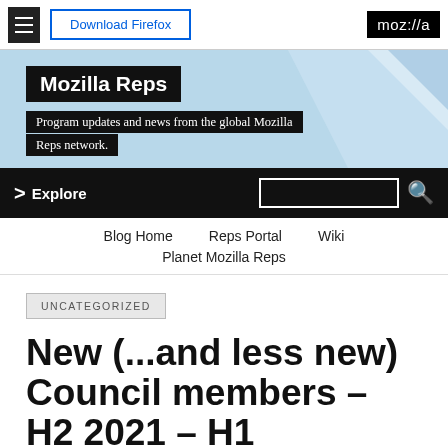Download Firefox | moz://a
[Figure (screenshot): Mozilla Reps blog hero banner with blue geometric background, black title box 'Mozilla Reps' and subtitle 'Program updates and news from the global Mozilla Reps network.']
Explore
Blog Home | Reps Portal | Wiki | Planet Mozilla Reps
UNCATEGORIZED
New (...and less new) Council members – H2 2021 – H1